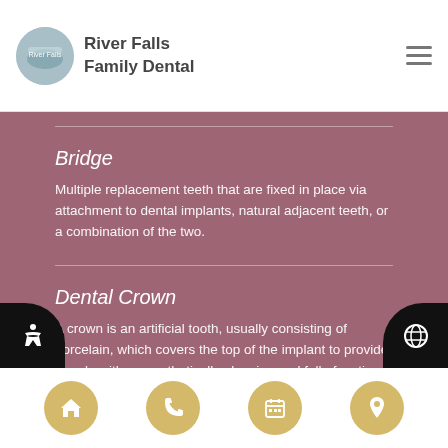River Falls Family Dental
Bridge
Multiple replacement teeth that are fixed in place via attachment to dental implants, natural adjacent teeth, or a combination of the two.
Dental Crown
A crown is an artificial tooth, usually consisting of porcelain, which covers the top of the implant to provide people with an aesthetically pleasing and fully-functional tooth.